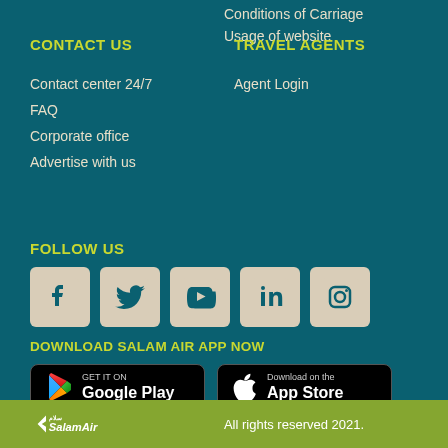Conditions of Carriage
Usage of website
CONTACT US
TRAVEL AGENTS
Contact center 24/7
Agent Login
FAQ
Corporate office
Advertise with us
FOLLOW US
[Figure (other): Social media icons: Facebook, Twitter, YouTube, LinkedIn, Instagram]
DOWNLOAD SALAM AIR APP NOW
[Figure (other): Google Play and App Store download buttons]
SalamAir — All rights reserved 2021.